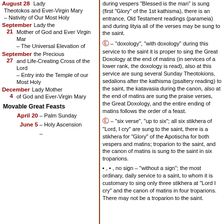| Date | Feast |
| --- | --- |
| August 28 | Lady Theotokos and Ever-Virgin Mary – Nativity of Our Most Holy Lady the Mother of God and Ever Virgin Mar |
| September 21 | – The Universal Elevation of the Precious and Life-Creating Cross of the Lord |
| September 27 | – Entry into the Temple of our Most Holy Lady Mother of God and Ever-Virgin Mary |
| December 4 |  |
| Movable Great Feasts |  |
| April 20 | – Palm Sunday |
| June 5 | – Holy Ascension |
during vespers "Blessed is the man" is sung (first "Glory" of the 1st kathisma), there is an entrance, Old Testament readings (parameia) and during lityia all of the verses may be sung to the saint.
– "doxology", "with doxology" during this service to the saint it is proper to sing the Great Doxology at the end of matins (in services of a lower rank, the doxology is read), also at this service are sung several Sunday Theotokions, sedalions after the kathisma (psaltery reading) to the saint, the katavasia during the canon, also at the end of matins are sung the praise verses, the Great Doxology, and the entire ending of matins follows the order of a feast.
– "six verse", "up to six"; all six stikhera of "Lord, I cry" are sung to the saint, there is a stikhera for "Glory" of the Apotischa for both vespers and matins; troparion to the saint, and the canon of matins is sung to the saint in six troparions.
▪ , • , no sign – "without a sign"; the most ordinary, daily service to a saint, to whom it is customary to sing only three stikhera at "Lord I cry" and the canon of matins in four troparions. There may not be a troparion to the saint.